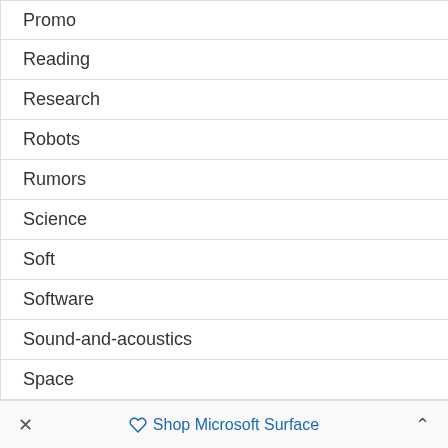Promo
Reading
Research
Robots
Rumors
Science
Soft
Software
Sound-and-acoustics
Space
Tablets
Technologies
× Shop Microsoft Surface ^